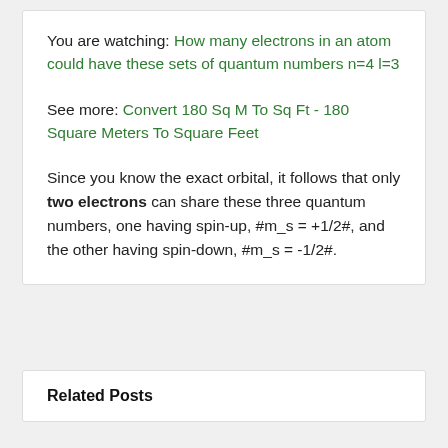You are watching: How many electrons in an atom could have these sets of quantum numbers n=4 l=3
See more: Convert 180 Sq M To Sq Ft - 180 Square Meters To Square Feet
Since you know the exact orbital, it follows that only two electrons can share these three quantum numbers, one having spin-up, #m_s = +1/2#, and the other having spin-down, #m_s = -1/2#.
Related Posts